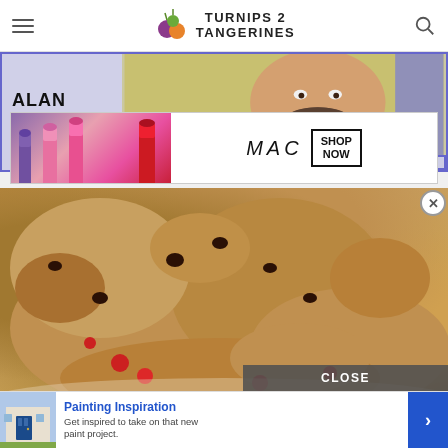Turnips 2 Tangerines
[Figure (photo): Advertisement banner for Alan Gratz book with blue/purple border, showing author name and partial photo of a man with beard]
[Figure (photo): MAC cosmetics advertisement showing colorful lipsticks on left and MAC logo with SHOP NOW box on right]
Proceeds benefit TABC Book Drop (Writer's Cubed, a 501c3).
[Figure (photo): Close-up photo of chocolate chip and cherry cookies on a plate, with a video overlay showing Danish Kringles - The Wisconsin Series with play button]
[Figure (screenshot): CLOSE button label overlay at bottom of video]
[Figure (photo): Painting Inspiration advertisement with image of blue door, title Painting Inspiration, text Get inspired to take on that new paint project, and blue arrow button]